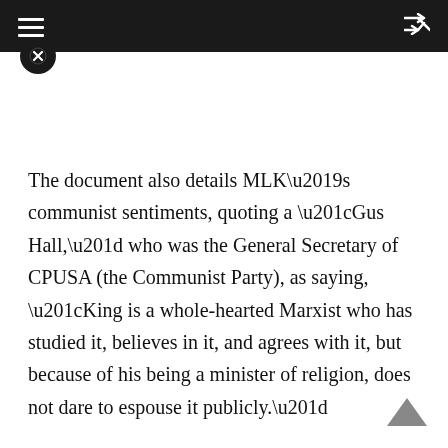≡   ⇌
The document also details MLK’s communist sentiments, quoting a “Gus Hall,” who was the General Secretary of CPUSA (the Communist Party), as saying, “King is a whole-hearted Marxist who has studied it, believes in it, and agrees with it, but because of his being a minister of religion, does not dare to espouse it publicly.”